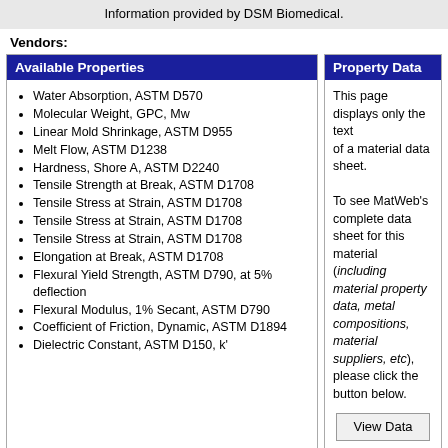Information provided by DSM Biomedical.
Vendors:
Available Properties
Water Absorption, ASTM D570
Molecular Weight, GPC, Mw
Linear Mold Shrinkage, ASTM D955
Melt Flow, ASTM D1238
Hardness, Shore A, ASTM D2240
Tensile Strength at Break, ASTM D1708
Tensile Stress at Strain, ASTM D1708
Tensile Stress at Strain, ASTM D1708
Tensile Stress at Strain, ASTM D1708
Elongation at Break, ASTM D1708
Flexural Yield Strength, ASTM D790, at 5% deflection
Flexural Modulus, 1% Secant, ASTM D790
Coefficient of Friction, Dynamic, ASTM D1894
Dielectric Constant, ASTM D150, k'
Property Data
This page displays only the text of a material data sheet.

To see MatWeb's complete data sheet for this material (including material property data, metal compositions, material suppliers, etc), please click the button below.
View Data